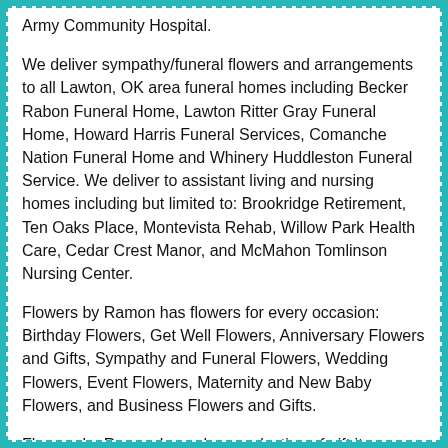Army Community Hospital.
We deliver sympathy/funeral flowers and arrangements to all Lawton, OK area funeral homes including Becker Rabon Funeral Home, Lawton Ritter Gray Funeral Home, Howard Harris Funeral Services, Comanche Nation Funeral Home and Whinery Huddleston Funeral Service. We deliver to assistant living and nursing homes including but limited to: Brookridge Retirement, Ten Oaks Place, Montevista Rehab, Willow Park Health Care, Cedar Crest Manor, and McMahon Tomlinson Nursing Center.
Flowers by Ramon has flowers for every occasion: Birthday Flowers, Get Well Flowers, Anniversary Flowers and Gifts, Sympathy and Funeral Flowers, Wedding Flowers, Event Flowers, Maternity and New Baby Flowers, and Business Flowers and Gifts.
Flowers by Ramon has a large selection of gift items including brand names but not limited to:
Baby Gifts: Pello, Petunia Pickle Bottom, Little Giraffe, Aden and Anais, Jelly Cat and Mud Pie
Home Fragrances: Tyler Candle, Lampe Berger, and Aromatique